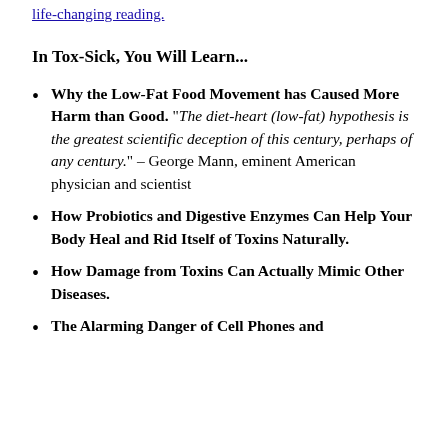life-changing reading.
In Tox-Sick, You Will Learn...
Why the Low-Fat Food Movement has Caused More Harm than Good. "The diet-heart (low-fat) hypothesis is the greatest scientific deception of this century, perhaps of any century." – George Mann, eminent American physician and scientist
How Probiotics and Digestive Enzymes Can Help Your Body Heal and Rid Itself of Toxins Naturally.
How Damage from Toxins Can Actually Mimic Other Diseases.
The Alarming Danger of Cell Phones and